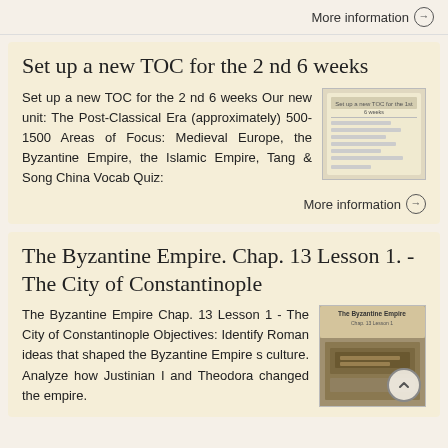More information →
Set up a new TOC for the 2 nd 6 weeks
Set up a new TOC for the 2 nd 6 weeks Our new unit: The Post-Classical Era (approximately) 500-1500 Areas of Focus: Medieval Europe, the Byzantine Empire, the Islamic Empire, Tang & Song China Vocab Quiz:
[Figure (photo): Thumbnail image of a TOC document page]
More information →
The Byzantine Empire. Chap. 13 Lesson 1. - The City of Constantinople
The Byzantine Empire Chap. 13 Lesson 1 - The City of Constantinople Objectives: Identify Roman ideas that shaped the Byzantine Empire s culture. Analyze how Justinian I and Theodora changed the empire.
[Figure (photo): Thumbnail image of The Byzantine Empire book/document cover showing aerial landscape]